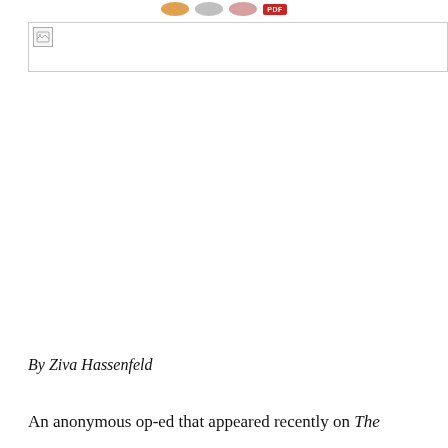[Figure (other): Social sharing buttons (circular icons) and a red PDF button at the top of the page]
[Figure (other): Broken/placeholder image with a small broken image icon in top-left corner, spanning width of content area]
By Ziva Hassenfeld
An anonymous op-ed that appeared recently on The